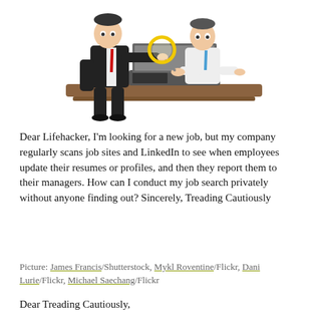[Figure (illustration): Cartoon illustration of a man in a dark suit with a red tie holding a magnifying glass up to examine another man in a white shirt and blue tie who is typing on a laptop at a brown desk.]
Dear Lifehacker, I'm looking for a new job, but my company regularly scans job sites and LinkedIn to see when employees update their resumes or profiles, and then they report them to their managers. How can I conduct my job search privately without anyone finding out? Sincerely, Treading Cautiously
Picture: James Francis/Shutterstock, Mykl Roventine/Flickr, Dani Lurie/Flickr, Michael Saechang/Flickr
Dear Treading Cautiously,